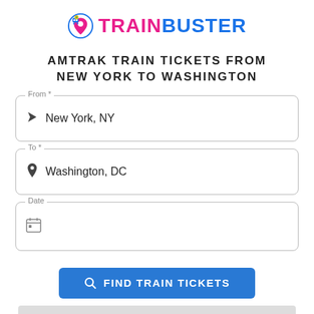[Figure (logo): TrainBuster logo with location pin icon and stylized text 'TRAINBUSTER' in pink and blue]
AMTRAK TRAIN TICKETS FROM NEW YORK TO WASHINGTON
From* New York, NY
To* Washington, DC
Date
FIND TRAIN TICKETS
[Figure (map): Gray map placeholder area at the bottom of the page]